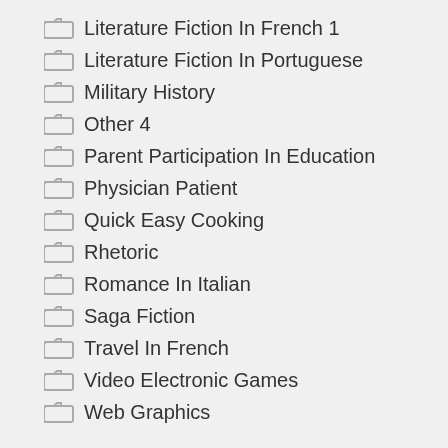Literature Fiction In French 1
Literature Fiction In Portuguese
Military History
Other 4
Parent Participation In Education
Physician Patient
Quick Easy Cooking
Rhetoric
Romance In Italian
Saga Fiction
Travel In French
Video Electronic Games
Web Graphics